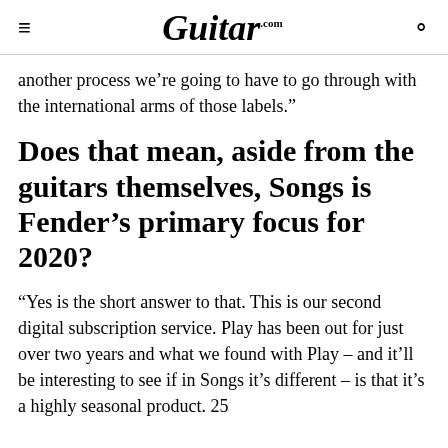Guitar.com
another process we’re going to have to go through with the international arms of those labels.”
Does that mean, aside from the guitars themselves, Songs is Fender’s primary focus for 2020?
“Yes is the short answer to that. This is our second digital subscription service. Play has been out for just over two years and what we found with Play – and it’ll be interesting to see if in Songs it’s different – is that it’s a highly seasonal product. 25